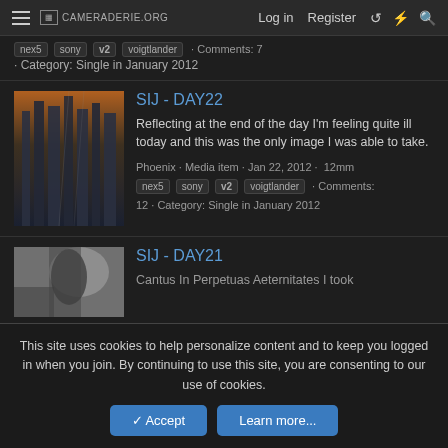CAMERADERIE.ORG  Log in  Register
nex5  sony  v2  voigtlander  · Comments: 7 · Category: Single in January 2012
SIJ - DAY22
Reflecting at the end of the day I'm feeling quite ill today and this was the only image I was able to take.
Phoenix · Media item · Jan 22, 2012 · 12mm  nex5  sony  v2  voigtlander  · Comments: 12 · Category: Single in January 2012
SIJ - DAY21
Cantus In Perpetuas Aeternitates I took
This site uses cookies to help personalize content and to keep you logged in when you join. By continuing to use this site, you are consenting to our use of cookies.